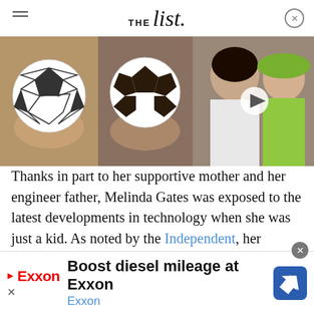THE list
[Figure (photo): Image strip showing two soccer ball photos on the left, and Meghan Markle with Queen Elizabeth on the right with a video play button overlay]
Thanks in part to her supportive mother and her engineer father, Melinda Gates was exposed to the latest developments in technology when she was just a kid. As noted by the Independent, her interest in math and computer science really started to pay off, and after she got her hands on an Apple computer (... Bill) she started...
[Figure (infographic): Exxon advertisement banner: 'Boost diesel mileage at Exxon' with Exxon logo and blue navigation icon]